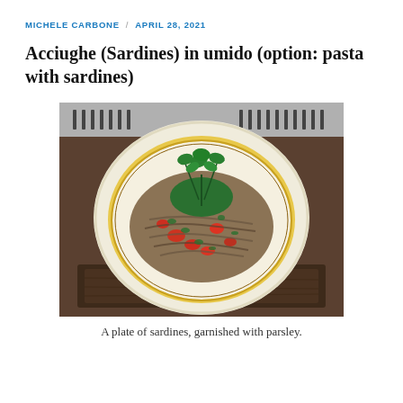MICHELE CARBONE / APRIL 28, 2021
Acciughe (Sardines) in umido (option: pasta with sardines)
[Figure (photo): A white scalloped plate with a yellow rim holding sardines cooked in umido style with tomatoes, herbs, and sauce, garnished with fresh parsley on top, placed on a wooden board with a gas stove visible in the background.]
A plate of sardines, garnished with parsley.